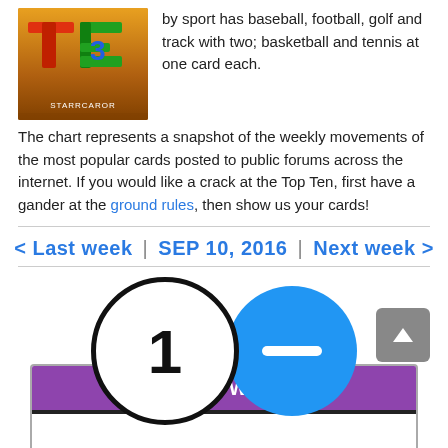[Figure (logo): Top Ten logo with colorful 3D letters T, E on orange/gradient background with STARRCAROR text]
by sport has baseball, football, golf and track with two; basketball and tennis at one card each.
The chart represents a snapshot of the weekly movements of the most popular cards posted to public forums across the internet. If you would like a crack at the Top Ten, first have a gander at the ground rules, then show us your cards!
< Last week | SEP 10, 2016 | Next week >
[Figure (infographic): Rank #1 circle with blue dash/minus circle indicating no change in rank]
JAYLEN NOWELL
Garfield Bulldogs, Basketball
[Figure (photo): Jaylen Nowell trading card preview with purple header bar showing JAYLEN NOWELL #SG]